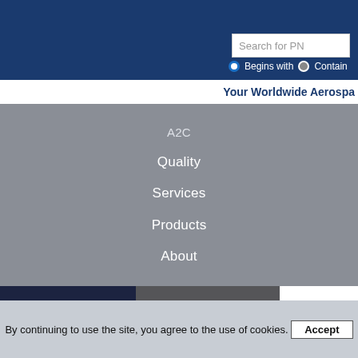[Figure (screenshot): Website header with dark blue background containing a search field labeled 'Search for PN' and radio button options 'Begins with' and 'Contains']
Your Worldwide Aerospa
A2C
Quality
Services
Products
About
Alexander SCHRAFF
Quality Department
Glenny REYES
Quality System Spec
By continuing to use the site, you agree to the use of cookies.
Accept
ACCOUNTING